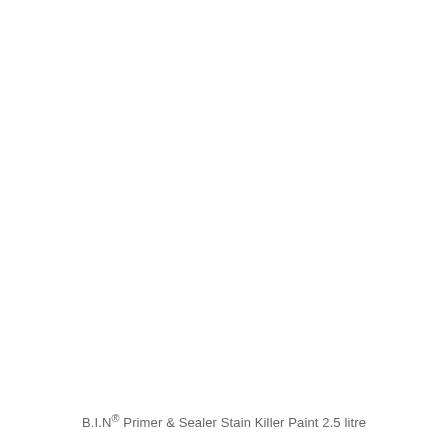B.I.N® Primer & Sealer Stain Killer Paint 2.5 litre